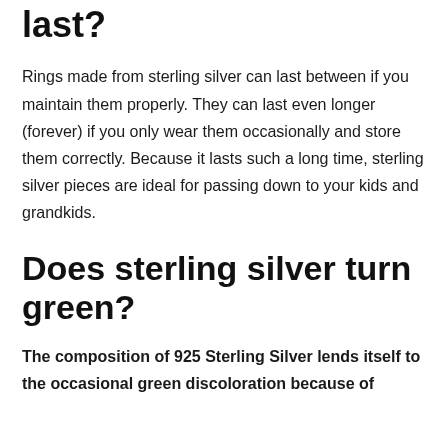last?
Rings made from sterling silver can last between if you maintain them properly. They can last even longer (forever) if you only wear them occasionally and store them correctly. Because it lasts such a long time, sterling silver pieces are ideal for passing down to your kids and grandkids.
Does sterling silver turn green?
The composition of 925 Sterling Silver lends itself to the occasional green discoloration because of